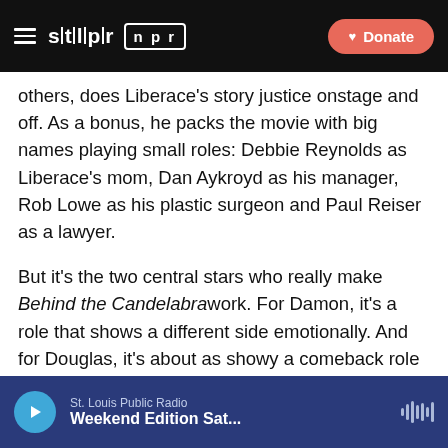STLPR NPR | Donate
others, does Liberace's story justice onstage and off. As a bonus, he packs the movie with big names playing small roles: Debbie Reynolds as Liberace's mom, Dan Aykroyd as his manager, Rob Lowe as his plastic surgeon and Paul Reiser as a lawyer.
But it's the two central stars who really make Behind the Candelabrawork. For Damon, it's a role that shows a different side emotionally. And for Douglas, it's about as showy a comeback role as anyone could imagine after a cancer diagnosis. And this is one Hollywood veteran who doesn't just pull it off — he owns it.
Copyright 2020 NPR. To see more, visit
St. Louis Public Radio | Weekend Edition Sat...